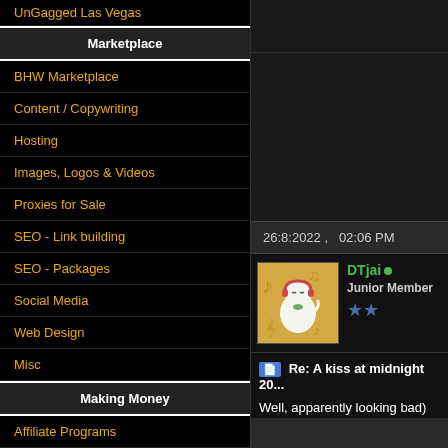UnGagged Las Vegas
Marketplace
BHW Marketplace
Content / Copywriting
Hosting
Images, Logos & Videos
Proxies for Sale
SEO - Link building
SEO - Packages
Social Media
Web Design
Misc
Making Money
Affiliate Programs
Hire a Freelancer
Making Money
Pay Per Click (PPC)
Site Flipping
26:8:2022 ,   02:06 PM
DTjai Junior Member
Re: A kiss at midnight 20...
Well, apparently looking bad) 🙂